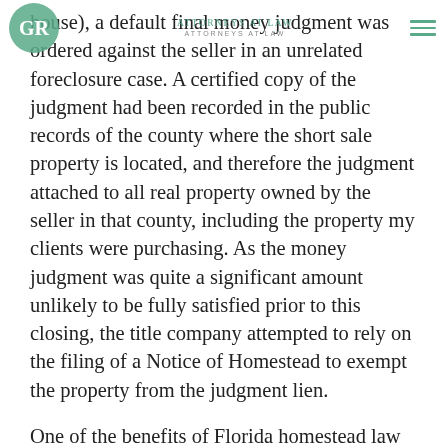GR | Attorneys at Law
house), a default final money judgment was ordered against the seller in an unrelated foreclosure case. A certified copy of the judgment had been recorded in the public records of the county where the short sale property is located, and therefore the judgment attached to all real property owned by the seller in that county, including the property my clients were purchasing. As the money judgment was quite a significant amount unlikely to be fully satisfied prior to this closing, the title company attempted to rely on the filing of a Notice of Homestead to exempt the property from the judgment lien.
One of the benefits of Florida homestead law is protection from liens, except those for the payment of taxes and assessments on the homestead property, obligations contracted for the purchase, improvement or repair thereof, or obligations contracted for house, field or other labor performed on the realty. To exempt